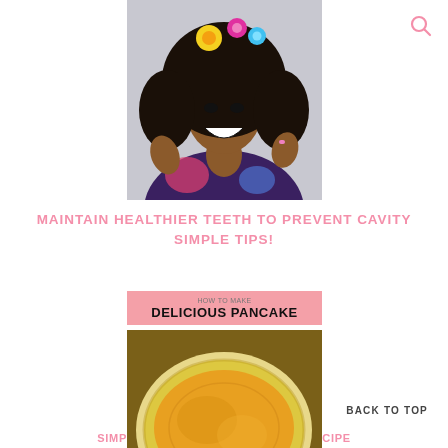[Figure (photo): Smiling Black woman with large natural hair and colorful flower headwear, wearing a floral embroidered purple jacket]
MAINTAIN HEALTHIER TEETH TO PREVENT CAVITY SIMPLE TIPS!
[Figure (photo): Food blog card showing 'HOW TO MAKE DELICIOUS PANCAKE' with a photo of a golden pancake on a plate]
BACK TO TOP
SIMPLE BUT DELICIOUS PANCAKE RECIPE